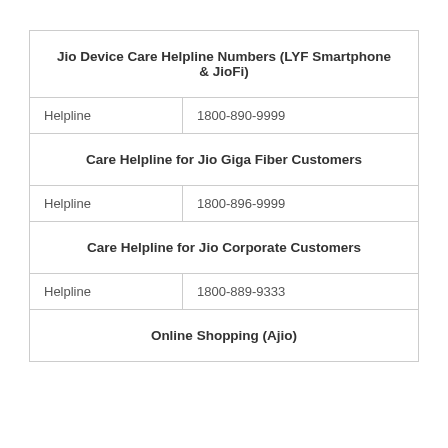| Jio Device Care Helpline Numbers (LYF Smartphone & JioFi) |
| Helpline | 1800-890-9999 |
| Care Helpline for Jio Giga Fiber Customers |
| Helpline | 1800-896-9999 |
| Care Helpline for Jio Corporate Customers |
| Helpline | 1800-889-9333 |
| Online Shopping (Ajio) |